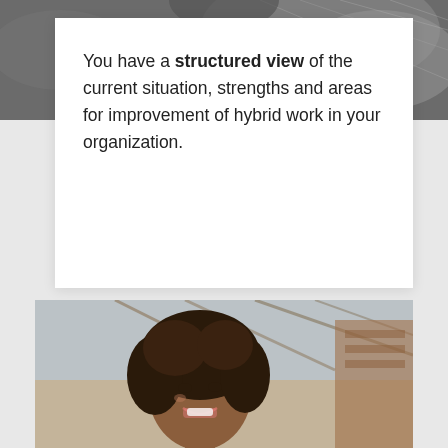[Figure (photo): Dark gray background photo at top of page, partially obscured by white card overlay]
You have a structured view of the current situation, strengths and areas for improvement of hybrid work in your organization.
[Figure (photo): Photo of a smiling young woman with curly hair in an industrial/warehouse setting]